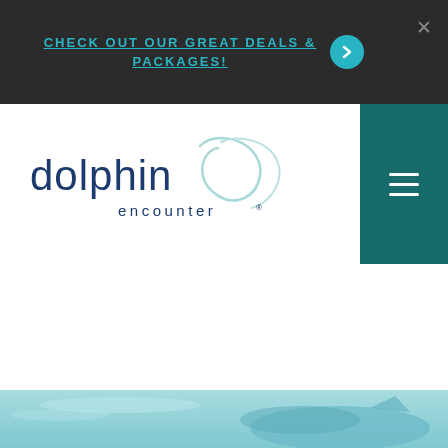CHECK OUT OUR GREAT DEALS & PACKAGES!
[Figure (logo): Dolphin Encounter logo with stylized dolphin swoosh graphic]
[Figure (photo): Underwater photo of a dolphin in blue-green water, partially visible at bottom of page]